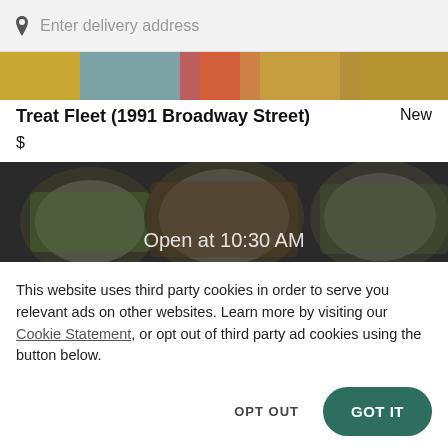Enter delivery address
[Figure (photo): Partial view of colorful food/snack packaging banner image]
Treat Fleet (1991 Broadway Street)
New
$
[Figure (photo): Food photo showing plates of food, partially obscured, with text 'Open at 10:30 AM']
This website uses third party cookies in order to serve you relevant ads on other websites. Learn more by visiting our Cookie Statement, or opt out of third party ad cookies using the button below.
OPT OUT
GOT IT